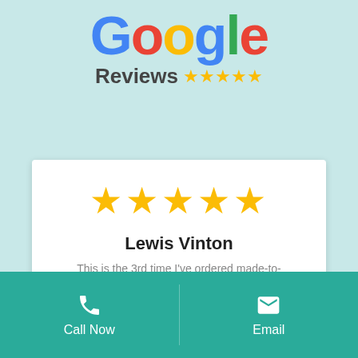[Figure (logo): Google Reviews logo with the word 'Google' in Google brand colors and 'Reviews' text followed by five gold stars]
[Figure (other): White card with five gold stars, reviewer name 'Lewis Vinton', and partial review text 'This is the 3rd time I've ordered made-to-']
Lewis Vinton
This is the 3rd time I've ordered made-to-
[Figure (other): Teal bottom bar with phone icon 'Call Now' on left and envelope icon 'Email' on right]